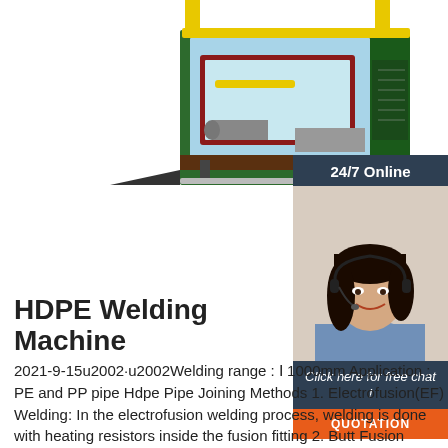[Figure (engineering-diagram): 3D rendering of an HDPE pipe welding machine inside a shipping container, showing yellow crane mechanism, blue walls, gray pipes, and industrial equipment]
[Figure (photo): Customer service agent: smiling woman wearing a headset with dark hair and blue shirt, shown from shoulders up against a dark navy sidebar panel. Sidebar includes '24/7 Online' label, 'Click here for free chat!' text, and an orange QUOTATION button.]
HDPE Welding Machine
2021-9-15u2002·u2002Welding range : Ð 1000mm Application : PE and PP pipe Hdpe Pipe Joining Methods 1. Electrofusion(EF) Welding: In the electrofusion welding process, welding is done with heating resistors inside the fusion fitting 2. Butt Fusion Welding: The Butt welding method is the most common welding method currently used